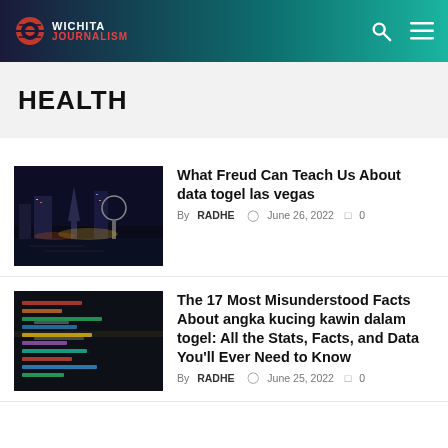WICHITA JOURNALISM
HEALTH
[Figure (photo): Aerial night view of Las Vegas Strip with bright casino lights and cityscape]
What Freud Can Teach Us About data togel las vegas
By RADHE  June 26, 2022  0
[Figure (photo): Dark code editor screen with colorful syntax-highlighted programming code]
The 17 Most Misunderstood Facts About angka kucing kawin dalam togel: All the Stats, Facts, and Data You'll Ever Need to Know
By RADHE  June 25, 2022  0